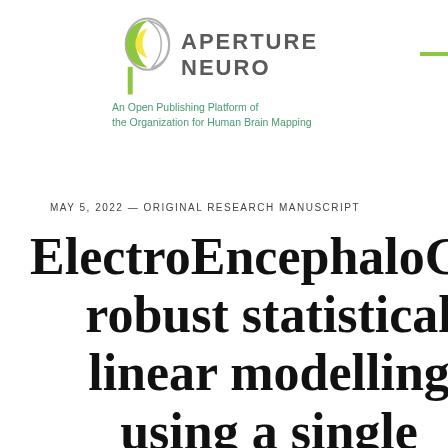[Figure (logo): Aperture Neuro logo with stylized head icon and green leaf, text 'APERTURE NEURO' with green dash, subtitle 'An Open Publishing Platform of the Organization for Human Brain Mapping']
MAY 5, 2022 — ORIGINAL RESEARCH MANUSCRIPT
ElectroEncephaloGraph robust statistical linear modelling using a single weight per trial